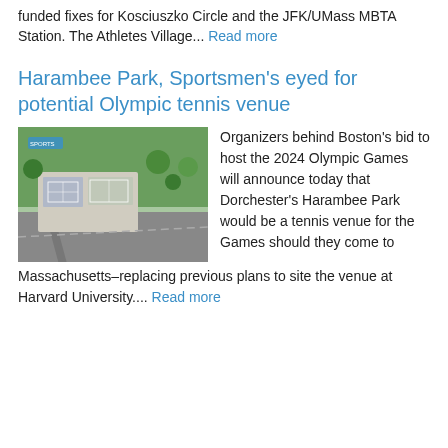funded fixes for Kosciuszko Circle and the JFK/UMass MBTA Station. The Athletes Village... Read more
Harambee Park, Sportsmen's eyed for potential Olympic tennis venue
[Figure (photo): Aerial view of Harambee Park and surrounding Dorchester neighborhood, showing tennis courts and green spaces]
Organizers behind Boston's bid to host the 2024 Olympic Games will announce today that Dorchester's Harambee Park would be a tennis venue for the Games should they come to Massachusetts–replacing previous plans to site the venue at Harvard University.... Read more